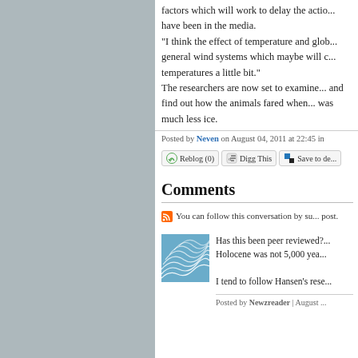factors which will work to delay the action... have been in the media.
"I think the effect of temperature and glo... general wind systems which maybe will c... temperatures a little bit."
The researchers are now set to examine... and find out how the animals fared when... was much less ice.
Posted by Neven on August 04, 2011 at 22:45 in ...
Reblog (0) | Digg This | Save to de...
Comments
You can follow this conversation by su... post.
[Figure (illustration): Blue and white wave/shell pattern avatar icon]
Has this been peer reviewed?... Holocene was not 5,000 yea...
I tend to follow Hansen's rese...
Posted by Newzreader | August ...